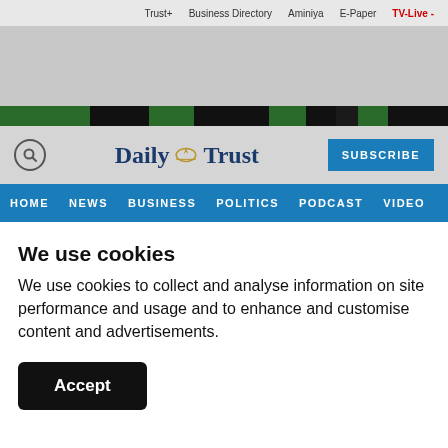Trust+ | Business Directory | Aminiya | E-Paper | TV-Live
[Figure (screenshot): Daily Trust newspaper website header with banner image and logo]
We use cookies
We use cookies to collect and analyse information on site performance and usage and to enhance and customise content and advertisements.
Accept